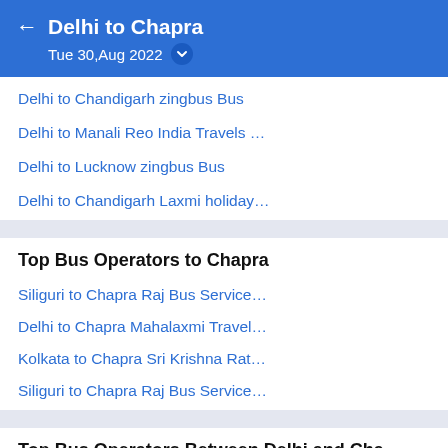Delhi to Chapra
Tue 30,Aug 2022
Delhi to Chandigarh zingbus Bus
Delhi to Manali Reo India Travels …
Delhi to Lucknow zingbus Bus
Delhi to Chandigarh Laxmi holiday…
Top Bus Operators to Chapra
Siliguri to Chapra Raj Bus Service…
Delhi to Chapra Mahalaxmi Travel…
Kolkata to Chapra Sri Krishna Rat…
Siliguri to Chapra Raj Bus Service…
Top Bus Operators Between Delhi and Cha…